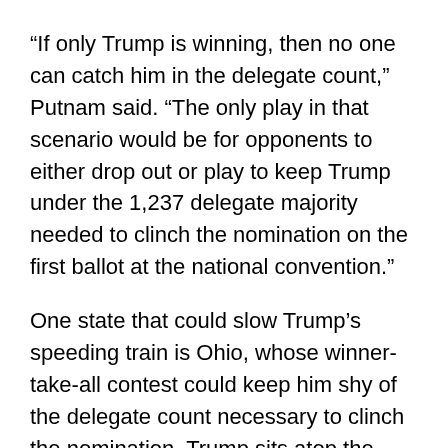“If only Trump is winning, then no one can catch him in the delegate count,” Putnam said. “The only play in that scenario would be for opponents to either drop out or play to keep Trump under the 1,237 delegate majority needed to clinch the nomination on the first ballot at the national convention.”
One state that could slow Trump’s speeding train is Ohio, whose winner-take-all contest could keep him shy of the delegate count necessary to clinch the nomination. Trump sits atop the polls there, narrowly beating Buckeye Gov. Kasich.
Even in a situation in which Trump, Rubio, and Cruz are the last three standing, as conventional wisdom would suggest, the road still looks rocky for Cruz and Rubio. An